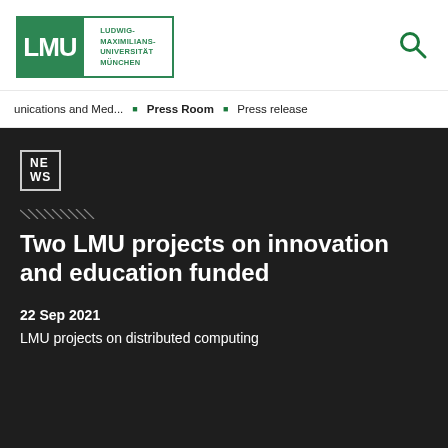[Figure (logo): LMU Ludwig-Maximilians-Universität München logo in green and white]
unications and Med... • Press Room • Press release
Two LMU projects on innovation and education funded
22 Sep 2021
LMU projects on distributed computing